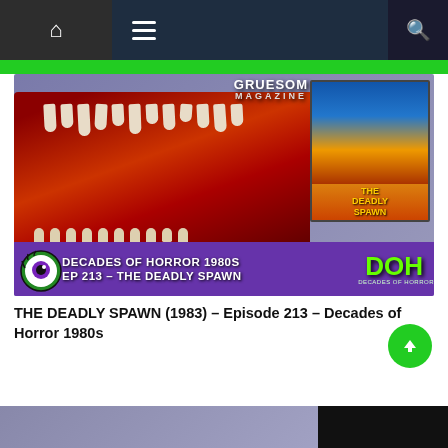Navigation bar with home, menu, and search icons
[Figure (screenshot): Decades of Horror 1980s podcast episode 213 - The Deadly Spawn. Main image shows a monster mouth with teeth, with movie poster for The Deadly Spawn, Gruesome Magazine logo, eyeball mascot, and purple banner with show title text and DOH logo.]
THE DEADLY SPAWN (1983) – Episode 213 – Decades of Horror 1980s
[Figure (screenshot): Partial bottom strip showing beginning of another episode image]